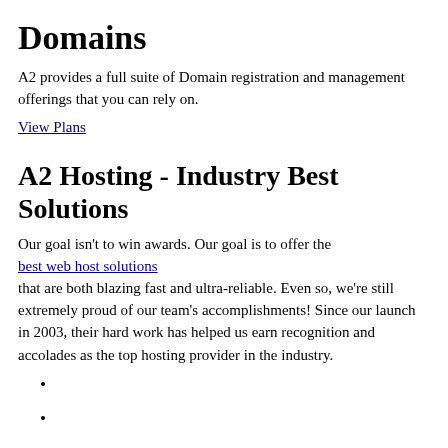Domains
A2 provides a full suite of Domain registration and management offerings that you can rely on.
View Plans
A2 Hosting - Industry Best Solutions
Our goal isn't to win awards. Our goal is to offer the best web host solutions that are both blazing fast and ultra-reliable. Even so, we're still extremely proud of our team's accomplishments! Since our launch in 2003, their hard work has helped us earn recognition and accolades as the top hosting provider in the industry.